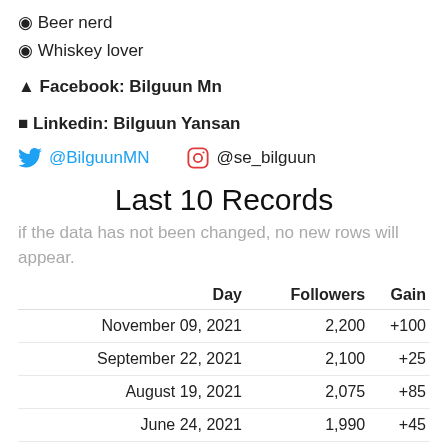🍺 Beer nerd
🥃 Whiskey lover
👤 Facebook: Bilguun Mn
🔗 Linkedin: Bilguun Yansan
@BilguunMN  @se_bilguun
Last 10 Records
if the data has not been changed, no new rows will appear.
| Day | Followers | Gain |
| --- | --- | --- |
| November 09, 2021 | 2,200 | +100 |
| September 22, 2021 | 2,100 | +25 |
| August 19, 2021 | 2,075 | +85 |
| June 24, 2021 | 1,990 | +45 |
| June 15, 2021 | 1,945 | +70 |